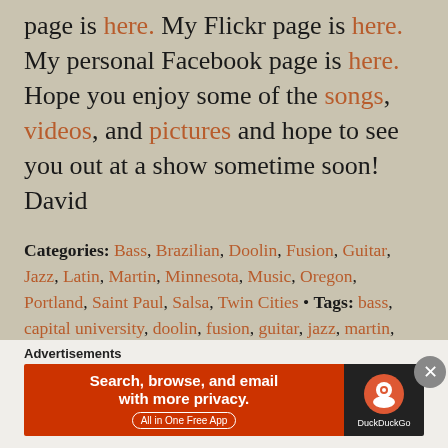page is here. My Flickr page is here. My personal Facebook page is here. Hope you enjoy some of the songs, videos, and pictures and hope to see you out at a show sometime soon! David
Categories: Bass, Brazilian, Doolin, Fusion, Guitar, Jazz, Latin, Martin, Minnesota, Music, Oregon, Portland, Saint Paul, Salsa, Twin Cities • Tags: bass, capital university, doolin, fusion, guitar, jazz, martin, minneapolis, minnesota, music, oregon, portland, saint paul, salsa, twin cities • Permalink
Advertisements
[Figure (other): DuckDuckGo advertisement banner: 'Search, browse, and email with more privacy. All in One Free App' on orange background with DuckDuckGo logo on dark background]